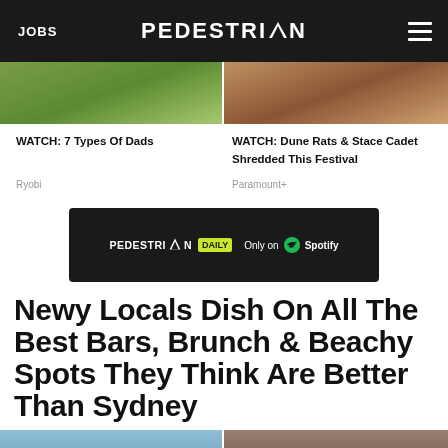JOBS | PEDESTRIAN | menu
[Figure (photo): Two thumbnail images side by side at top of page]
WATCH: 7 Types Of Dads
WATCH: Dune Rats & Stace Cadet Shredded This Festival
Ryobi
Paramount+
[Figure (infographic): Pedestrian Daily - Only on Spotify advertisement banner]
Newy Locals Dish On All The Best Bars, Brunch & Beachy Spots They Think Are Better Than Sydney
[Figure (photo): Two images at the bottom of the page, partially visible]